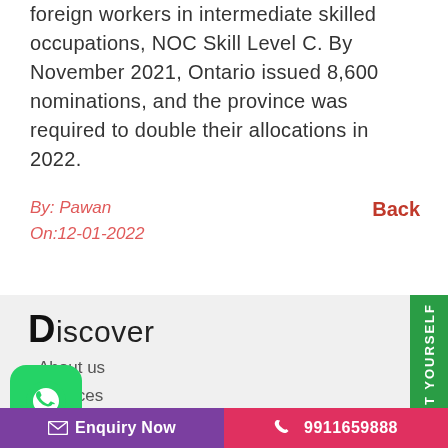foreign workers in intermediate skilled occupations, NOC Skill Level C. By November 2021, Ontario issued 8,600 nominations, and the province was required to double their allocations in 2022.
By: Pawan
On:12-01-2022
Back
Discover
About us
Services
act US
[Figure (logo): WhatsApp logo icon — white phone in speech bubble on green rounded square background]
DO IT YOURSELF
Enquiry Now   9911659888